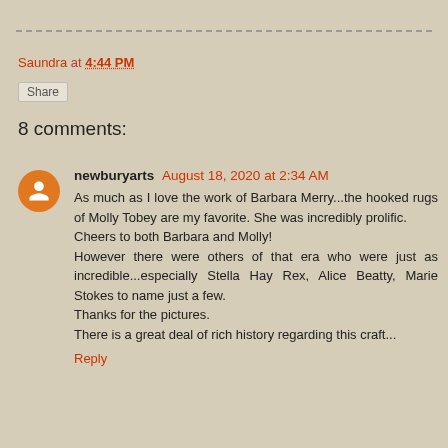Saundra at 4:44 PM
Share
8 comments:
newburyarts August 18, 2020 at 2:34 AM
As much as I love the work of Barbara Merry...the hooked rugs of Molly Tobey are my favorite. She was incredibly prolific.
Cheers to both Barbara and Molly!
However there were others of that era who were just as incredible...especially Stella Hay Rex, Alice Beatty, Marie Stokes to name just a few.
Thanks for the pictures.
There is a great deal of rich history regarding this craft...
Reply